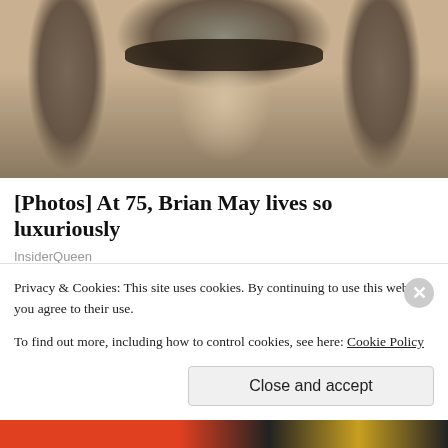[Figure (photo): Close-up photo of a man with curly gray hair and dark sunglasses, smiling, wearing a dark jacket and white shirt]
[Photos] At 75, Brian May lives so luxuriously
InsiderQueen
[Figure (photo): Thumbnail photo of two people wearing sunglasses outdoors with greenery in background]
[Pics] Obama Opens The Door To His House, But We Didn't Expect To See This Inside!
Privacy & Cookies: This site uses cookies. By continuing to use this website, you agree to their use.
To find out more, including how to control cookies, see here: Cookie Policy
Close and accept